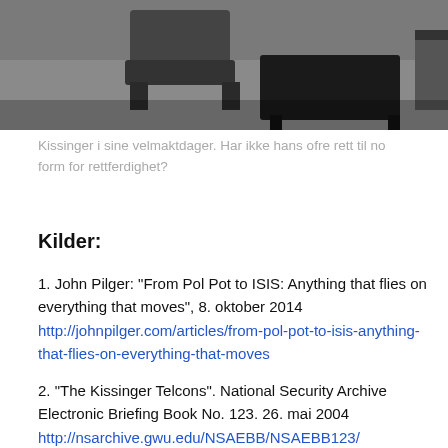[Figure (photo): Black and white photo of a room interior with furniture including chairs and a coffee table, partially cropped.]
Kissinger i sine velmaktdager. Har ikke hans ofre rett til no form for rettferdighet?
Kilder:
1. John Pilger: “From Pol Pot to ISIS: Anything that flies on everything that moves”, 8. oktober 2014 http://johnpilger.com/articles/from-pol-pot-to-isis-anything-that-flies-on-everything-that-moves
2. “The Kissinger Telcons”. National Security Archive Electronic Briefing Book No. 123. 26. mai 2004 http://nsarchive.gwu.edu/NSAEBB/NSAEBB123/
3. “Fifty years of violent war deaths from Vietnam to